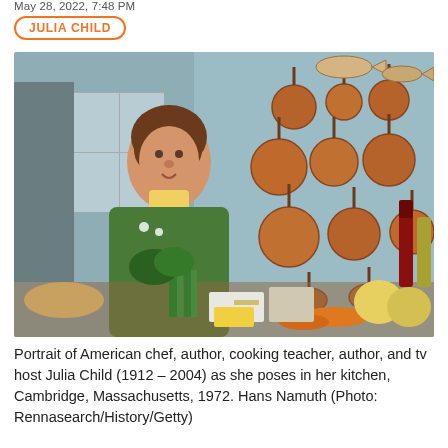May 28, 2022, 7:48 PM
JULIA CHILD
[Figure (photo): Portrait of Julia Child standing in her kitchen surrounded by food, ingredients, and copper pans hanging on a light blue wall. She is wearing a green cardigan over a yellow collared shirt. Cambridge, Massachusetts, 1972.]
Portrait of American chef, author, cooking teacher, author, and tv host Julia Child (1912 – 2004) as she poses in her kitchen, Cambridge, Massachusetts, 1972. Hans Namuth (Photo: Rennasearch/History/Getty)